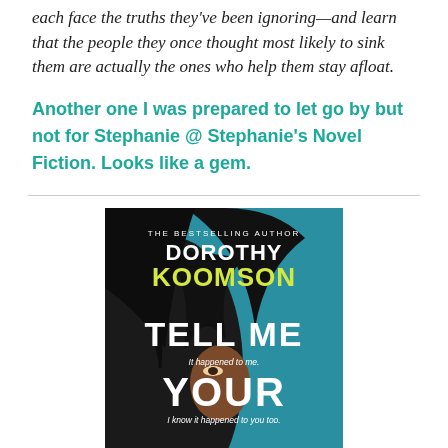each face the truths they've been ignoring—and learn that the people they once thought most likely to sink them are actually the ones who help them stay afloat.
Another one I was prepared to let go by but not for Stephanie @ Stephanie's Novel Fiction. Looks like a gem.
[Figure (illustration): Book cover of 'Tell Me Your Secret' by Dorothy Koomson. Teal/blue background with a close-up of a woman's face partially obscured by dark hair. Text: 'THE BESTSELLING AUTHOR', 'DOROTHY KOOMSON', 'TELL ME', 'It happened to me.', 'YOUR', 'I know it happened to you too.', 'SECRET']